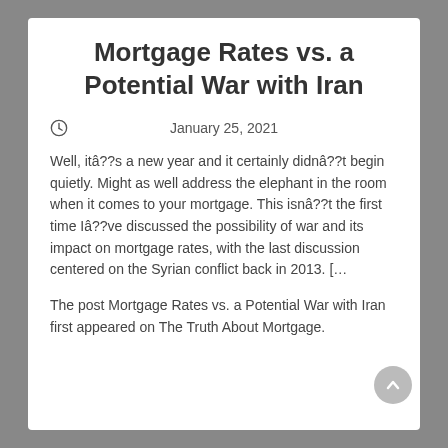Mortgage Rates vs. a Potential War with Iran
January 25, 2021
Well, itâs a new year and it certainly didnât begin quietly. Might as well address the elephant in the room when it comes to your mortgage. This isnât the first time Iâve discussed the possibility of war and its impact on mortgage rates, with the last discussion centered on the Syrian conflict back in 2013. [&hellip
The post Mortgage Rates vs. a Potential War with Iran first appeared on The Truth About Mortgage.